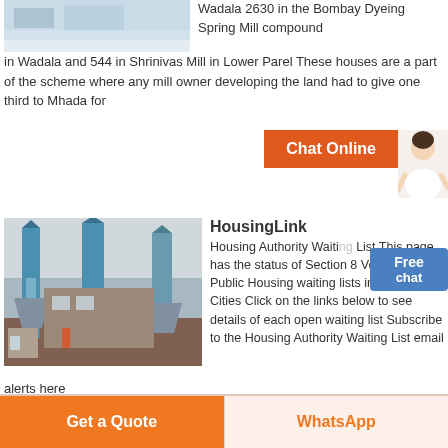[Figure (photo): Industrial building interior with reflective floor, partial view at top of page]
Wadala 2630 in the Bombay Dyeing Spring Mill compound in Wadala and 544 in Shrinivas Mill in Lower Parel These houses are a part of the scheme where any mill owner developing the land had to give one third to Mhada for
[Figure (other): Chat Online button with customer service avatar]
[Figure (photo): Industrial facility with tall blue grain elevator towers and storage silos]
HousingLink
Housing Authority Waiting List This page has the status of Section 8 Voucher and Public Housing waiting lists in the Twin Cities Click on the links below to see details of each open waiting list Subscribe to the Housing Authority Waiting List email alerts here
[Figure (other): Free chat button in blue]
Get a Quote
WhatsApp